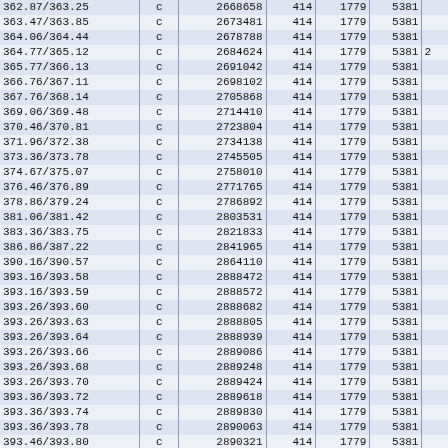| col1 | col2 | col3 | col4 | col5 | col6 | col7 |
| --- | --- | --- | --- | --- | --- | --- |
| 362.87/363.25 | c | 2668658 | 414 | 1779 | 5381 |  |
| 363.47/363.85 | c | 2673481 | 414 | 1779 | 5381 |  |
| 364.06/364.44 | c | 2678788 | 414 | 1779 | 5381 |  |
| 364.77/365.12 | c | 2684624 | 414 | 1779 | 5381 | 2 |
| 365.77/366.13 | c | 2691042 | 414 | 1779 | 5381 |  |
| 366.76/367.11 | c | 2698102 | 414 | 1779 | 5381 |  |
| 367.76/368.14 | c | 2705868 | 414 | 1779 | 5381 |  |
| 369.06/369.48 | c | 2714410 | 414 | 1779 | 5381 |  |
| 370.46/370.81 | c | 2723804 | 414 | 1779 | 5381 |  |
| 371.96/372.38 | c | 2734138 | 414 | 1779 | 5381 |  |
| 373.36/373.78 | c | 2745505 | 414 | 1779 | 5381 |  |
| 374.67/375.07 | c | 2758010 | 414 | 1779 | 5381 |  |
| 376.46/376.89 | c | 2771765 | 414 | 1779 | 5381 |  |
| 378.86/379.24 | c | 2786892 | 414 | 1779 | 5381 |  |
| 381.06/381.42 | c | 2803531 | 414 | 1779 | 5381 |  |
| 383.36/383.75 | c | 2821833 | 414 | 1779 | 5381 |  |
| 386.86/387.22 | c | 2841965 | 414 | 1779 | 5381 |  |
| 390.16/390.57 | c | 2864110 | 414 | 1779 | 5381 |  |
| 393.16/393.58 | c | 2888472 | 414 | 1779 | 5381 |  |
| 393.16/393.59 | c | 2888572 | 414 | 1779 | 5381 |  |
| 393.26/393.60 | c | 2888682 | 414 | 1779 | 5381 |  |
| 393.26/393.63 | c | 2888805 | 414 | 1779 | 5381 |  |
| 393.26/393.64 | c | 2888939 | 414 | 1779 | 5381 |  |
| 393.26/393.66 | c | 2889086 | 414 | 1779 | 5381 |  |
| 393.26/393.68 | c | 2889248 | 414 | 1779 | 5381 |  |
| 393.26/393.70 | c | 2889424 | 414 | 1779 | 5381 |  |
| 393.36/393.72 | c | 2889618 | 414 | 1779 | 5381 |  |
| 393.36/393.74 | c | 2889830 | 414 | 1779 | 5381 |  |
| 393.36/393.78 | c | 2890063 | 414 | 1779 | 5381 |  |
| 393.46/393.80 | c | 2890321 | 414 | 1779 | 5381 |  |
| 393.46/393.84 | c | 2890603 | 414 | 1779 | 5381 |  |
| 393.46/393.88 | c | 2890913 | 414 | 1779 | 5381 |  |